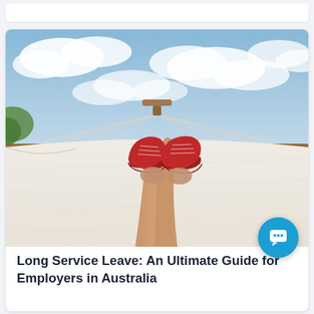[Figure (photo): Person lying in a hammock viewed from below, wearing red sneakers, with a blue sky and clouds in the background]
Long Service Leave: An Ultimate Guide for Employers in Australia